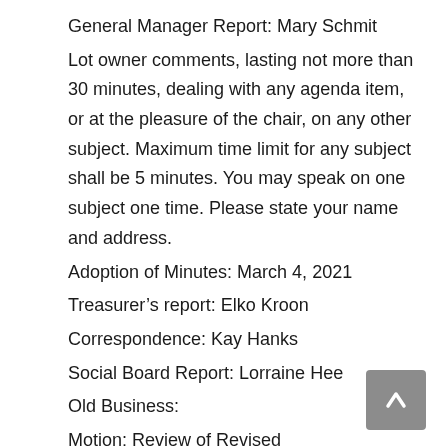General Manager Report: Mary Schmit
Lot owner comments, lasting not more than 30 minutes, dealing with any agenda item, or at the pleasure of the chair, on any other subject. Maximum time limit for any subject shall be 5 minutes. You may speak on one subject one time. Please state your name and address.
Adoption of Minutes: March 4, 2021
Treasurer’s report: Elko Kroon
Correspondence: Kay Hanks
Social Board Report: Lorraine Hee
Old Business:
Motion: Review of Revised Standing Committee Terms of Reference Glen Stover
New Business: